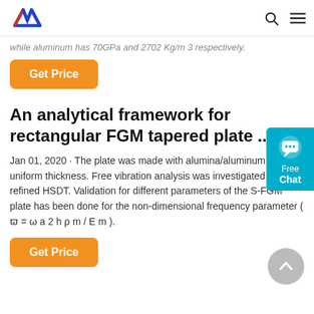AW (logo) | search | menu
while aluminum has 70GPa and 2702 Kg/m 3 respectively.
Get Price
An analytical framework for rectangular FGM tapered plate ...
Jan 01, 2020 · The plate was made with alumina/aluminum with uniform thickness. Free vibration analysis was investigated using refined HSDT. Validation for different parameters of the S-FGM plate has been done for the non-dimensional frequency parameter ( ϖ = ω a 2 h ρ m / E m ).
Get Price